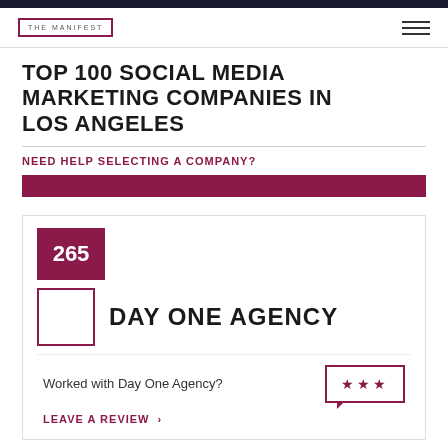THE MANIFEST
TOP 100 SOCIAL MEDIA MARKETING COMPANIES IN LOS ANGELES
NEED HELP SELECTING A COMPANY?
265
DAY ONE AGENCY
Worked with Day One Agency?
LEAVE A REVIEW